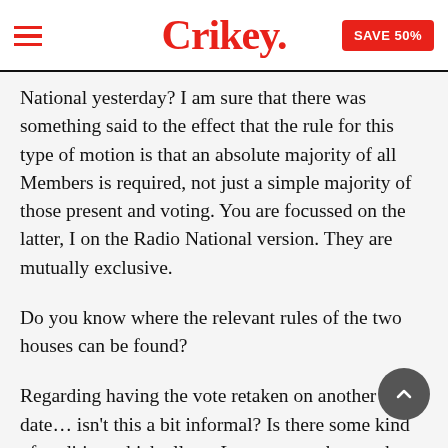Crikey. SAVE 50%
National yesterday? I am sure that there was something said to the effect that the rule for this type of motion is that an absolute majority of all Members is required, not just a simple majority of those present and voting. You are focussed on the latter, I on the Radio National version. They are mutually exclusive.
Do you know where the relevant rules of the two houses can be found?
Regarding having the vote retaken on another date… isn't this a bit informal? Is there some kind of tradition which allows Lost votes to be re-taken and perchance to become Not Lost After All… At Least Till Next Time? I might be displaying my ignorance here, but surely there